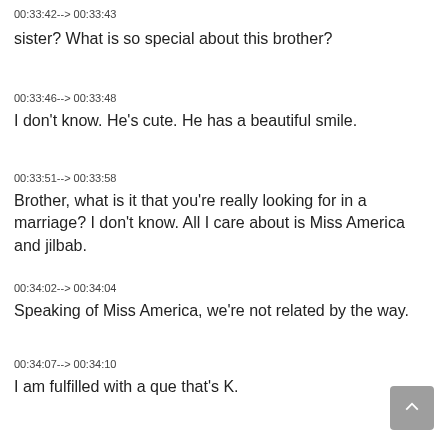00:33:42--> 00:33:43
sister? What is so special about this brother?
00:33:46--> 00:33:48
I don't know. He's cute. He has a beautiful smile.
00:33:51--> 00:33:58
Brother, what is it that you're really looking for in a marriage? I don't know. All I care about is Miss America and jilbab.
00:34:02--> 00:34:04
Speaking of Miss America, we're not related by the way.
00:34:07--> 00:34:10
I am fulfilled with a que that's K.